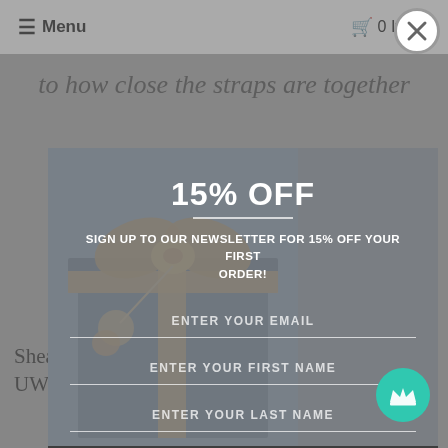≡ Menu   🛒 0 Items
to how close the straps are together
15% OFF
SIGN UP TO OUR NEWSLETTER FOR 15% OFF YOUR FIRST ORDER!
ENTER YOUR EMAIL
ENTER YOUR FIRST NAME
ENTER YOUR LAST NAME
ACTIVATE DISCOUNT
Shea P6062 Bare Plunge Unlined UW Bra.
Powered by omnisend